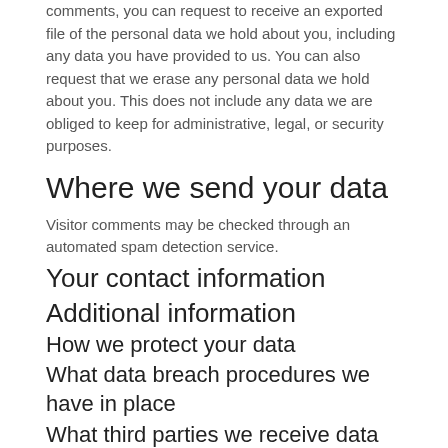comments, you can request to receive an exported file of the personal data we hold about you, including any data you have provided to us. You can also request that we erase any personal data we hold about you. This does not include any data we are obliged to keep for administrative, legal, or security purposes.
Where we send your data
Visitor comments may be checked through an automated spam detection service.
Your contact information
Additional information
How we protect your data
What data breach procedures we have in place
What third parties we receive data from